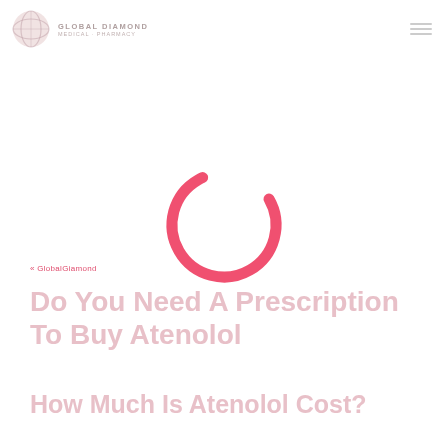[Figure (logo): Global Diamond logo with circular globe icon and text 'GLOBAL DIAMOND' with subtitle]
[Figure (other): Loading spinner — large pink/salmon arc (C-shape) indicating page loading in progress]
« GlobalGiamond
Do You Need A Prescription To Buy Atenolol
How Much Is Atenolol Cost?